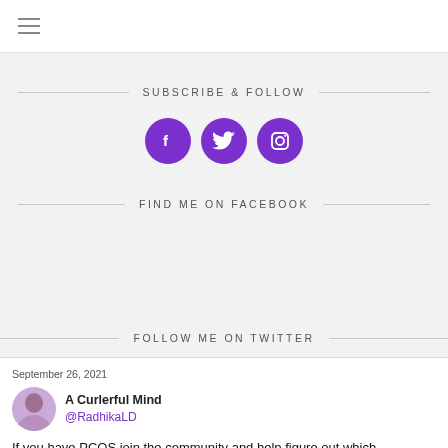≡
SUBSCRIBE & FOLLOW
[Figure (illustration): Three purple circular social media icons: Facebook (f), Twitter (bird), Instagram (camera)]
FIND ME ON FACEBOOK
FOLLOW ME ON TWITTER
September 26, 2021
A Curlerful Mind @RadhikaLD
If you have PCOS join the community and help figure out which treatments work best t.co/5ryI6nKFJo #StuffThatWorks #Health